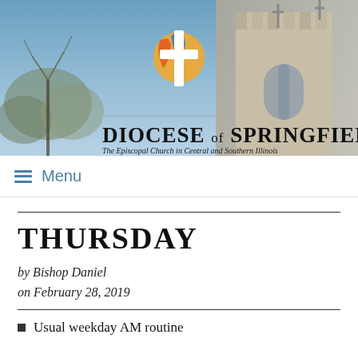[Figure (photo): Diocese of Springfield website header banner with a church tower on the right, trees on the left, blue sky background, a colorful cross logo at top center, and the text 'DIOCESE OF SPRINGFIELD — The Episcopal Church in Central and Southern Illinois']
≡ Menu
THURSDAY
by Bishop Daniel
on February 28, 2019
Usual weekday AM routine